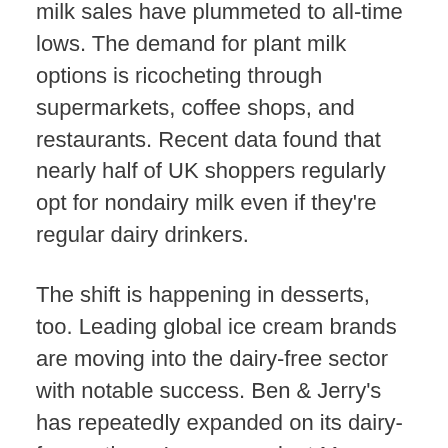milk sales have plummeted to all-time lows. The demand for plant milk options is ricocheting through supermarkets, coffee shops, and restaurants. Recent data found that nearly half of UK shoppers regularly opt for nondairy milk even if they're regular dairy drinkers.
The shift is happening in desserts, too. Leading global ice cream brands are moving into the dairy-free sector with notable success. Ben & Jerry's has repeatedly expanded on its dairy-free options. Ice cream giant Magnum recently launched into the dairy-free sector, too. And more brands are hopping on board daily.
Eggs are no stranger to warnings, mainly for their connection to high cholesterol and heart disease. Then, they enjoyed a culinary renaissance in recent